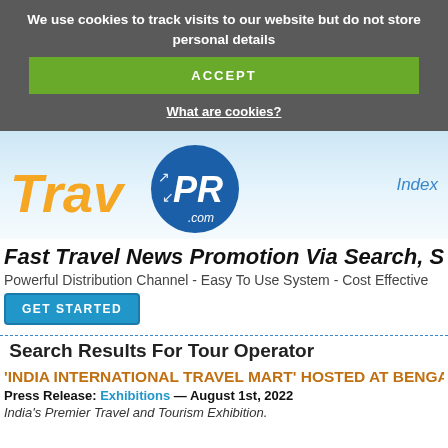We use cookies to track visits to our website but do not store personal details
ACCEPT
What are cookies?
[Figure (logo): TravPR.com logo with orange italic 'Trav' text and blue circular badge with 'PR' and '.com' text, with arrow graphics]
Index
Fast Travel News Promotion Via Search, So
Powerful Distribution Channel - Easy To Use System - Cost Effective
GET STARTED
Search Results For Tour Operator
'INDIA INTERNATIONAL TRAVEL MART' HOSTED AT BENGALURU
Press Release: Exhibitions — August 1st, 2022
India's Premier Travel and Tourism Exhibition.